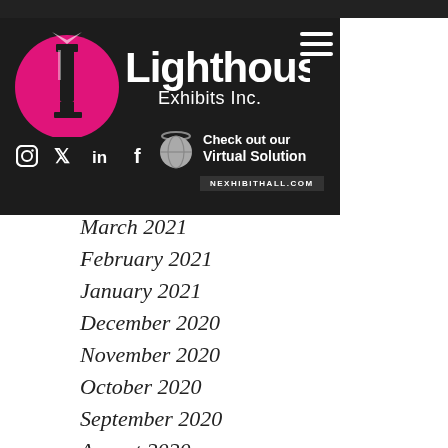[Figure (logo): Lighthouse Exhibits Inc. logo with pink circle containing lighthouse silhouette, white text on dark background]
[Figure (infographic): Virtual solution promo with globe/ball icon and text 'Check out our Virtual Solution' with URL nexhibithall.com]
March 2021
February 2021
January 2021
December 2020
November 2020
October 2020
September 2020
August 2020
July 2020
June 2020
May 2020